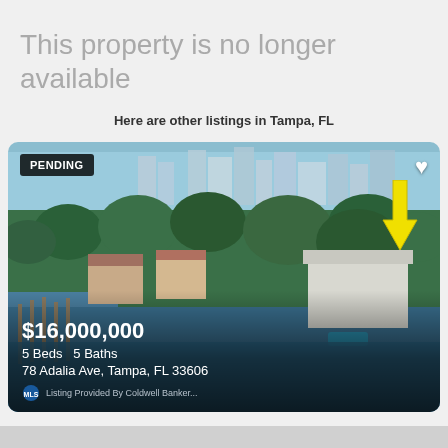This property is no longer available
Here are other listings in Tampa, FL
[Figure (photo): Aerial view of waterfront luxury home at 78 Adalia Ave, Tampa, FL with marina and city skyline in background. PENDING badge top-left, heart icon top-right, yellow arrow pointing to property.]
$16,000,000
5 Beds   5 Baths
78 Adalia Ave, Tampa, FL 33606
Listing Provided By Coldwell Banker...